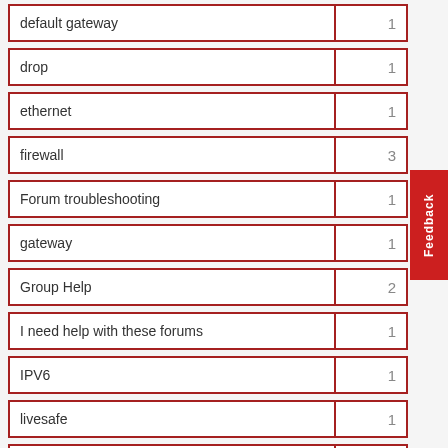| Term | Count |
| --- | --- |
| default gateway | 1 |
| drop | 1 |
| ethernet | 1 |
| firewall | 3 |
| Forum troubleshooting | 1 |
| gateway | 1 |
| Group Help | 2 |
| I need help with these forums | 1 |
| IPV6 | 1 |
| livesafe | 1 |
| Livesafe Firewall | 1 |